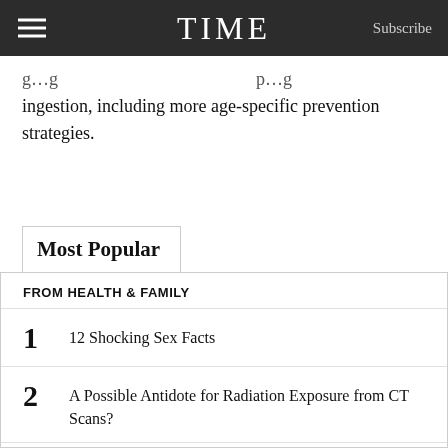TIME | Subscribe
…going … prevention … ingestion, including more age-specific prevention strategies.
Most Popular
FROM HEALTH & FAMILY
1 12 Shocking Sex Facts
2 A Possible Antidote for Radiation Exposure from CT Scans?